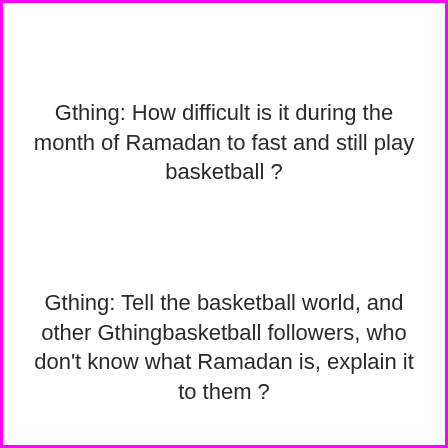Gthing: How difficult is it during the month of Ramadan to fast and still play basketball ?
Gthing: Tell the basketball world, and other Gthingbasketball followers, who don't know what Ramadan is, explain it to them ?